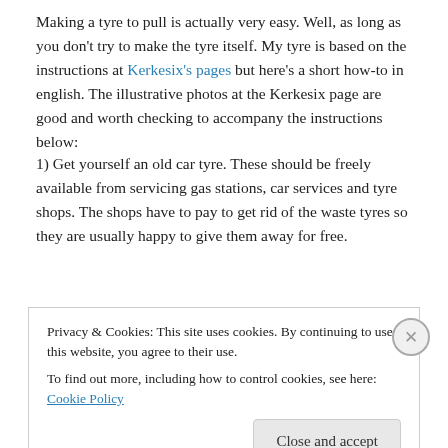Making a tyre to pull is actually very easy. Well, as long as you don't try to make the tyre itself. My tyre is based on the instructions at Kerkesix's pages but here's a short how-to in english. The illustrative photos at the Kerkesix page are good and worth checking to accompany the instructions below:
1) Get yourself an old car tyre. These should be freely available from servicing gas stations, car services and tyre shops. The shops have to pay to get rid of the waste tyres so they are usually happy to give them away for free.
Privacy & Cookies: This site uses cookies. By continuing to use this website, you agree to their use. To find out more, including how to control cookies, see here: Cookie Policy
Close and accept